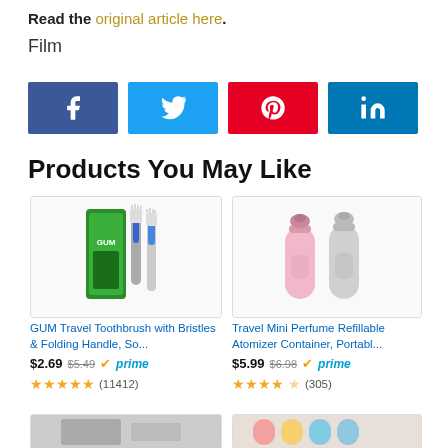Read the original article here.
Film
[Figure (infographic): Social share buttons: Facebook, Twitter, Pinterest, LinkedIn]
Products You May Like
[Figure (photo): GUM Travel Toothbrush with Bristles and Folding Handle product image]
GUM Travel Toothbrush with Bristles & Folding Handle, So...
$2.69 $5.49 prime (11412)
[Figure (photo): Travel Mini Perfume Refillable Atomizer Container product image]
Travel Mini Perfume Refillable Atomizer Container, Portabl...
$5.99 $6.98 prime (305)